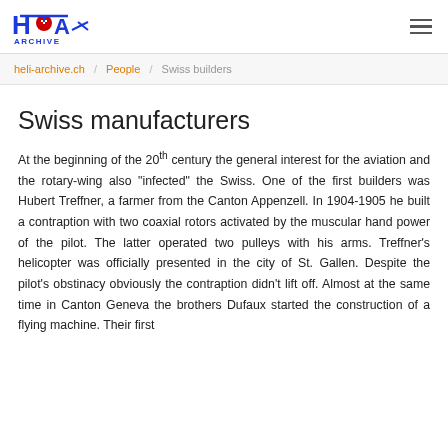heli-archive.ch / People / Swiss builders
Swiss manufacturers
At the beginning of the 20th century the general interest for the aviation and the rotary-wing also "infected" the Swiss. One of the first builders was Hubert Treffner, a farmer from the Canton Appenzell. In 1904-1905 he built a contraption with two coaxial rotors activated by the muscular hand power of the pilot. The latter operated two pulleys with his arms. Treffner's helicopter was officially presented in the city of St. Gallen. Despite the pilot's obstinacy obviously the contraption didn't lift off. Almost at the same time in Canton Geneva the brothers Dufaux started the construction of a flying machine. Their first